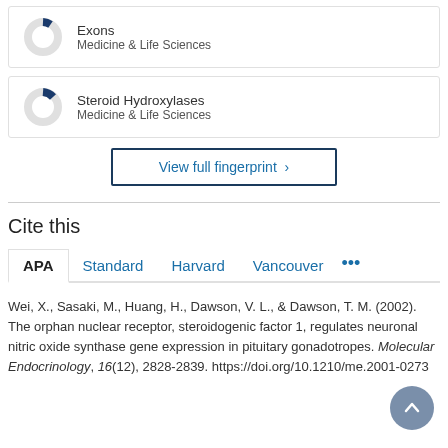[Figure (donut-chart): Small donut chart with dark blue slice, Medicine & Life Sciences]
Exons
Medicine & Life Sciences
[Figure (donut-chart): Small donut chart with dark blue slice, Medicine & Life Sciences]
Steroid Hydroxylases
Medicine & Life Sciences
View full fingerprint ›
Cite this
APA   Standard   Harvard   Vancouver   •••
Wei, X., Sasaki, M., Huang, H., Dawson, V. L., & Dawson, T. M. (2002). The orphan nuclear receptor, steroidogenic factor 1, regulates neuronal nitric oxide synthase gene expression in pituitary gonadotropes. Molecular Endocrinology, 16(12), 2828-2839. https://doi.org/10.1210/me.2001-0273